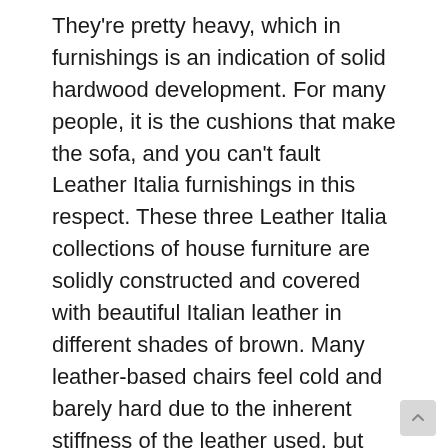They're pretty heavy, which in furnishings is an indication of solid hardwood development. For many people, it is the cushions that make the sofa, and you can't fault Leather Italia furnishings in this respect. These three Leather Italia collections of house furniture are solidly constructed and covered with beautiful Italian leather in different shades of brown. Many leather-based chairs feel cold and barely hard due to the inherent stiffness of the leather used, but not the Leather Italia Duplin Pecan assortment. It is simple to stand up from the Pecan collection with out need to push off from the arms. The Duplin Pecan vary is in a stupendous comfortable pecan brown leather, designed in a traditional fashion with Bombay scrolled arms outlined with hand-crafted dome-head nails.